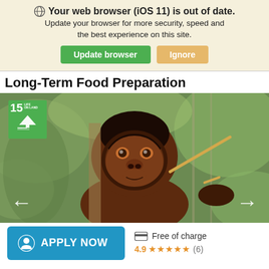🌐 Your web browser (iOS 11) is out of date. Update your browser for more security, speed and the best experience on this site. [Update browser] [Ignore]
Long-Term Food Preparation
[Figure (photo): A capuchin monkey holding a stick, looking at the camera, with a green SDG 15 badge in the top-left corner and navigation arrows at the bottom.]
APPLY NOW   Free of charge   4.9 ★★★★★ (6)